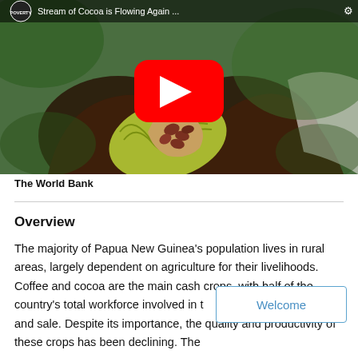[Figure (screenshot): YouTube video thumbnail showing hands holding an open cocoa pod, with a YouTube play button overlay. Title bar shows 'Stream of Cocoa is Flowing Again...' with a poverty-related channel logo.]
The World Bank
Overview
The majority of Papua New Guinea's population lives in rural areas, largely dependent on agriculture for their livelihoods. Coffee and cocoa are the main cash crops, with half of the country's total workforce involved in their production, processing and sale. Despite its importance, the quality and productivity of these crops has been declining. The